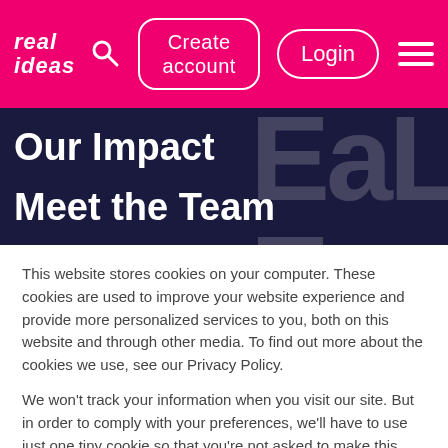[Figure (screenshot): Real Ideas website navigation bar with pink background, logo, search icon, Create account button, Login button, and hamburger menu]
[Figure (screenshot): Dark navy hero banner with 'Our Impact' and 'Meet the Team' text overlay and large decorative white letters in background]
This website stores cookies on your computer. These cookies are used to improve your website experience and provide more personalized services to you, both on this website and through other media. To find out more about the cookies we use, see our Privacy Policy.

We won't track your information when you visit our site. But in order to comply with your preferences, we'll have to use just one tiny cookie so that you're not asked to make this choice again.
Cookie Settings
Accept
Decline